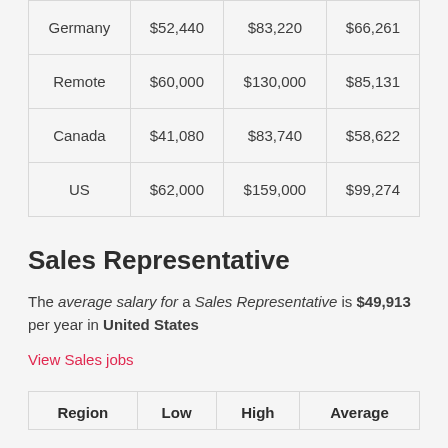| Region | Low | High | Average |
| --- | --- | --- | --- |
| Germany | $52,440 | $83,220 | $66,261 |
| Remote | $60,000 | $130,000 | $85,131 |
| Canada | $41,080 | $83,740 | $58,622 |
| US | $62,000 | $159,000 | $99,274 |
Sales Representative
The average salary for a Sales Representative is $49,913 per year in United States
View Sales jobs
| Region | Low | High | Average |
| --- | --- | --- | --- |